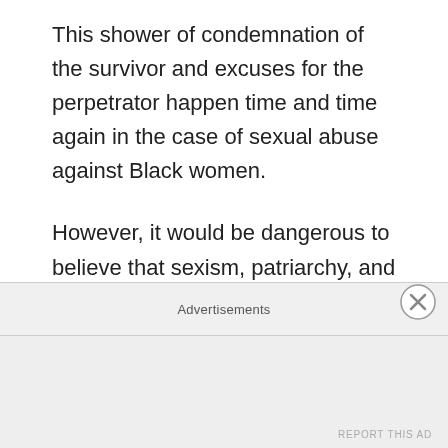This shower of condemnation of the survivor and excuses for the perpetrator happen time and time again in the case of sexual abuse against Black women.
However, it would be dangerous to believe that sexism, patriarchy, and abuse exist as vacuums in Black communities. They are an overall societal problem, prompted up my mainstream culture. The key issue with the Black community is, because mainstream culture already demonizes
Advertisements